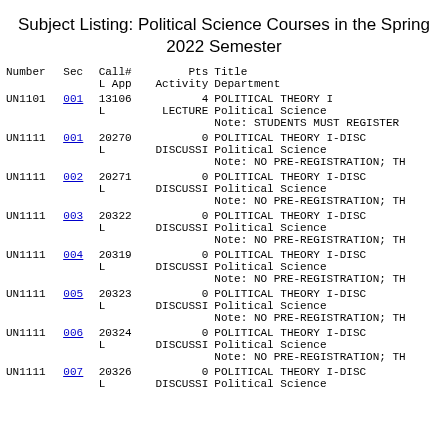Subject Listing: Political Science Courses in the Spring 2022 Semester
| Number | Sec | Call#
L App | Pts
Activity | Title
Department |
| --- | --- | --- | --- | --- |
| UN1101 | 001 | 13106
L | 4
LECTURE | POLITICAL THEORY I
Political Science
Note: STUDENTS MUST REGISTER |
| UN1111 | 001 | 20270
L | 0
DISCUSSI | POLITICAL THEORY I-DISC
Political Science
Note: NO PRE-REGISTRATION; TH |
| UN1111 | 002 | 20271
L | 0
DISCUSSI | POLITICAL THEORY I-DISC
Political Science
Note: NO PRE-REGISTRATION; TH |
| UN1111 | 003 | 20322
L | 0
DISCUSSI | POLITICAL THEORY I-DISC
Political Science
Note: NO PRE-REGISTRATION; TH |
| UN1111 | 004 | 20319
L | 0
DISCUSSI | POLITICAL THEORY I-DISC
Political Science
Note: NO PRE-REGISTRATION; TH |
| UN1111 | 005 | 20323
L | 0
DISCUSSI | POLITICAL THEORY I-DISC
Political Science
Note: NO PRE-REGISTRATION; TH |
| UN1111 | 006 | 20324
L | 0
DISCUSSI | POLITICAL THEORY I-DISC
Political Science
Note: NO PRE-REGISTRATION; TH |
| UN1111 | 007 | 20326
L | 0
DISCUSSI | POLITICAL THEORY I-DISC
Political Science |